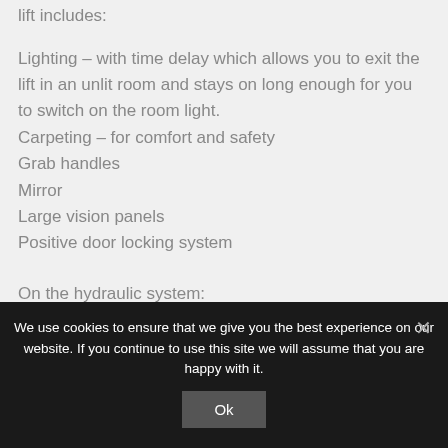lift includes:
Lighting – with time delay which allows you to exit the lift in an unlit room and stays on long enough for you to switch on the room light.
Carpeting – for comfort and safety
Grab handles
Mirror
Large vision panels
Positive door locking system
On the hydraulic system: anti creep system, rupture valves, air cooled pump.
We use cookies to ensure that we give you the best experience on our website. If you continue to use this site we will assume that you are happy with it.